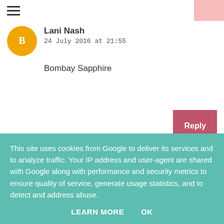≡
Lani Nash
24 July 2016 at 21:55
Bombay Sapphire
Reply
Haze
24 July 2016 at 22:04
Sipsmith gin for sure! With elderflower tonic!
This site uses cookies from Google to deliver its services and to analyze traffic. Your IP address and user-agent are shared with Google along with performance and security metrics to ensure quality of service, generate usage statistics, and to detect and address abuse.
LEARN MORE	OK